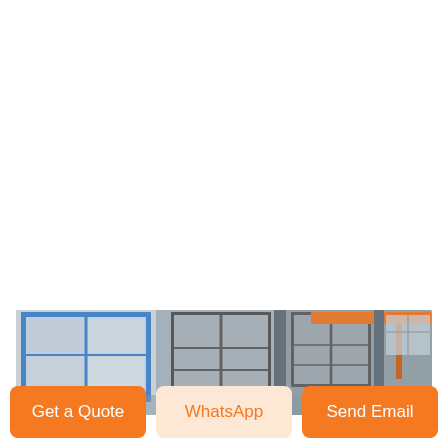[Figure (photo): Interior of an industrial warehouse or factory building showing large windows with blue frames, steel structural columns, and an orange overhead crane rail near the ceiling. The building has high ceilings with natural light streaming through clerestory windows.]
Get a Quote
WhatsApp
Send Email